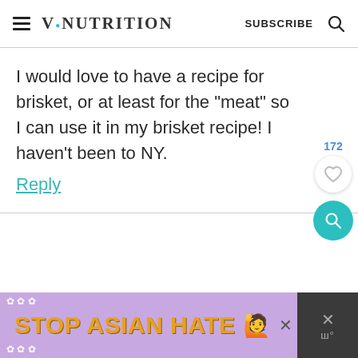V!NUTRITION  SUBSCRIBE
I would love to have a recipe for brisket, or at least for the "meat" so I can use it in my brisket recipe! I haven't been to NY.
Reply
[Figure (screenshot): STOP ASIAN HATE advertisement banner with purple background, orange bold text, and a cartoon figure]
[Figure (other): Like/heart button with count 172 and teal search FAB button]